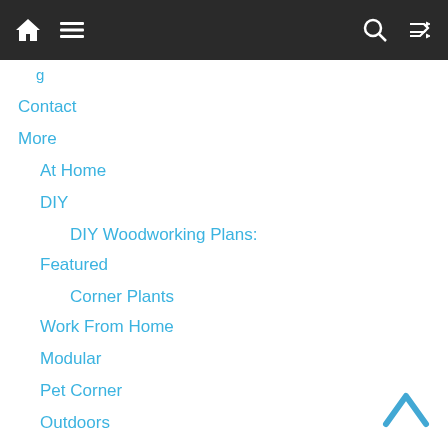Navigation bar with home, menu, search, and shuffle icons
Contact
More
At Home
DIY
DIY Woodworking Plans:
Featured
Corner Plants
Work From Home
Modular
Pet Corner
Outdoors